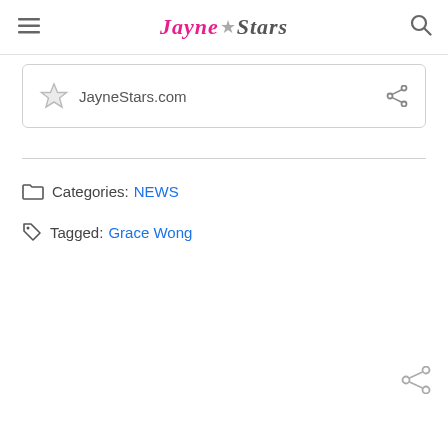JayneStars
JayneStars.com
Categories: NEWS
Tagged: Grace Wong